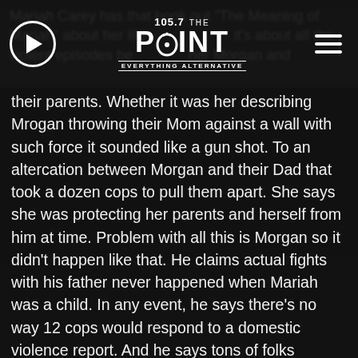105.7 The Point — EVERYTHING ALTERNATIVE
Mariah Carey has that book out "The Meaning of Mariah" about her life but it's about all the violent episodes between her brother Morgan and their parents. Whether it was her describing Mrogan throwing their Mom against a wall with such force it sounded like a gun shot. To an altercation between Morgan and their Dad that took a dozen cops to pull them apart. She says she was protecting her parents and herself from him at time. Problem with all this is Morgan so it didn't happen like that. He claims actual fights with his father never happened when Mariah was a child. In any event, he says there's no way 12 cops would respond to a domestic violence report. And he says tons of folks witnessed the "deep affection" between him and his mother. He's suing his baby sis for defamation and intentional infliction of emotional distress, and it looks like he wants big damages.